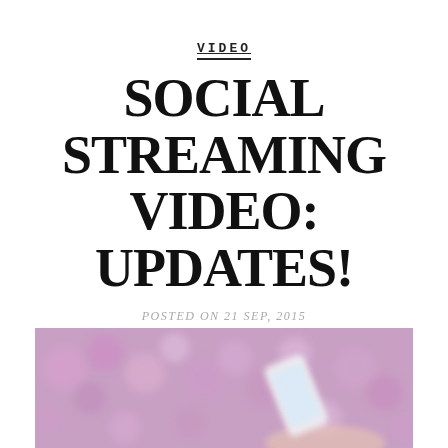VIDEO
SOCIAL STREAMING VIDEO: UPDATES!
POSTED ON 21 SEP, 2015
BY TARA J. BRANNIGAN
LEAVE A COMMENT
[Figure (photo): Blurred photo of a hand holding a smartphone against a background of pink/purple flowers]